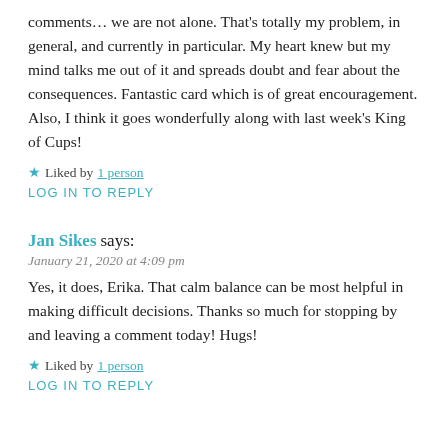comments… we are not alone. That's totally my problem, in general, and currently in particular. My heart knew but my mind talks me out of it and spreads doubt and fear about the consequences. Fantastic card which is of great encouragement. Also, I think it goes wonderfully along with last week's King of Cups!
★ Liked by 1 person
LOG IN TO REPLY
Jan Sikes says:
January 21, 2020 at 4:09 pm
Yes, it does, Erika. That calm balance can be most helpful in making difficult decisions. Thanks so much for stopping by and leaving a comment today! Hugs!
★ Liked by 1 person
LOG IN TO REPLY